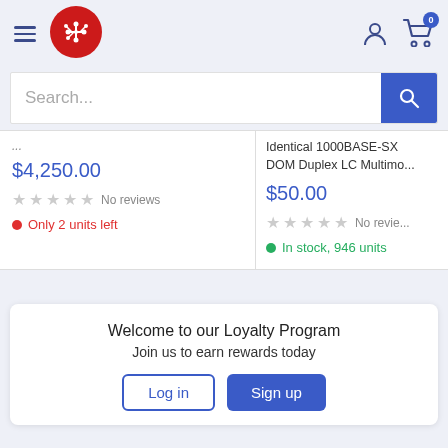[Figure (logo): Red circular logo with circuit board lines in white, electronics retailer brand]
Search...
$4,250.00
No reviews
Only 2 units left
Identical 1000BASE-SX DOM Duplex LC Multimo...
$50.00
No revie...
In stock, 946 units
Welcome to our Loyalty Program
Join us to earn rewards today
Log in
Sign up